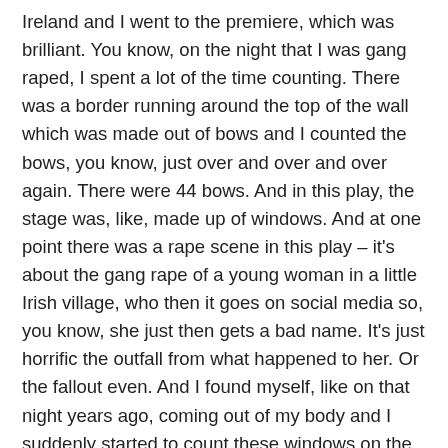Ireland and I went to the premiere, which was brilliant. You know, on the night that I was gang raped, I spent a lot of the time counting. There was a border running around the top of the wall which was made out of bows and I counted the bows, you know, just over and over and over again. There were 44 bows. And in this play, the stage was, like, made up of windows. And at one point there was a rape scene in this play – it's about the gang rape of a young woman in a little Irish village, who then it goes on social media so, you know, she just then gets a bad name. It's just horrific the outfall from what happened to her. Or the fallout even. And I found myself, like on that night years ago, coming out of my body and I suddenly started to count these windows on the stage over and over again. And I thought, “Oh my gosh, I didn’t know that I could still do that or go back to that place.” It really shocked me. But what was different this time is I was very aware of what was happening, even though I didn't